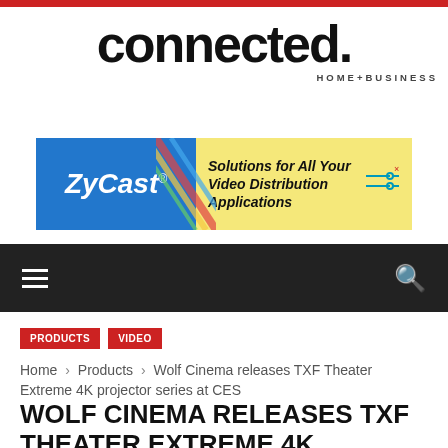connected. HOME+BUSINESS
[Figure (other): ZyCast advertisement banner: Solutions for All Your Video Distribution Applications]
Navigation bar with hamburger menu and search icon
PRODUCTS
VIDEO
Home › Products › Wolf Cinema releases TXF Theater Extreme 4K projector series at CES
WOLF CINEMA RELEASES TXF THEATER EXTREME 4K PROJECTOR